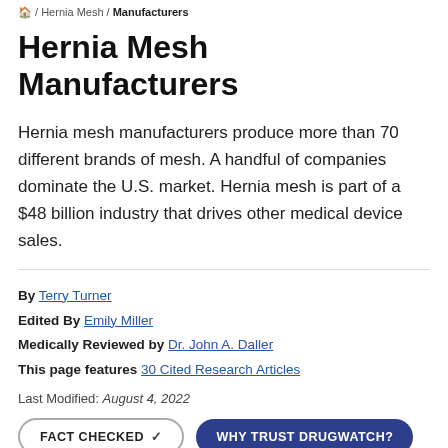🏠 / Hernia Mesh / Manufacturers
Hernia Mesh Manufacturers
Hernia mesh manufacturers produce more than 70 different brands of mesh. A handful of companies dominate the U.S. market. Hernia mesh is part of a $48 billion industry that drives other medical device sales.
By Terry Turner
Edited By Emily Miller
Medically Reviewed by Dr. John A. Daller
This page features 30 Cited Research Articles
Last Modified: August 4, 2022
FACT CHECKED ✓   WHY TRUST DRUGWATCH?